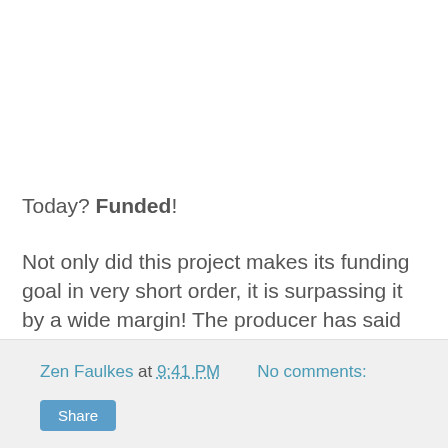Today? Funded!
Not only did this project makes its funding goal in very short order, it is surpassing it by a wide margin! The producer has said the surplus will be going to hiring a composer, so there is more to come. So if you've got a dollar or two, you can still support this project.
Zen Faulkes at 9:41 PM   No comments:   Share